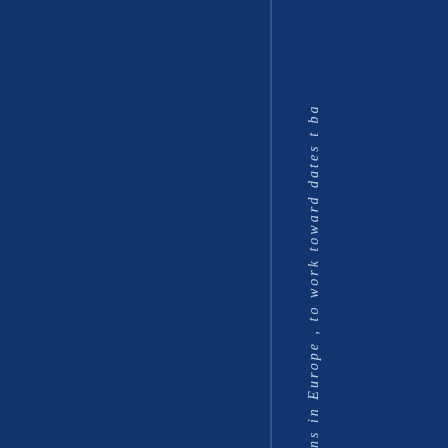[Figure (other): Dark navy blue book cover or page spread with a vertical white dividing line. On the right portion, vertical italic text reads 'ns in Europe, to work toward dates t ba' — appearing to be part of a longer rotated text string that is partially cropped.]